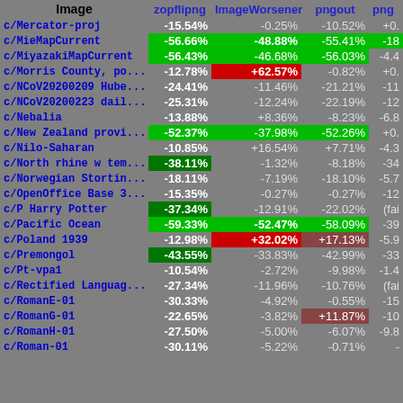| Image | zopflipng | ImageWorsener | pngout | png |
| --- | --- | --- | --- | --- |
| c/Mercator-proj | -15.54% | -0.25% | -10.52% | +0. |
| c/MieMapCurrent | -56.66% | -48.88% | -55.41% | -18 |
| c/MiyazakiMapCurrent | -56.43% | -46.68% | -56.03% | -4.4 |
| c/Morris County, po... | -12.78% | +62.57% | -0.82% | +0. |
| c/NCoV20200209 Hube... | -24.41% | -11.46% | -21.21% | -11 |
| c/NCoV20200223 dail... | -25.31% | -12.24% | -22.19% | -12 |
| c/Nebalia | -13.88% | +8.36% | -8.23% | -6.8 |
| c/New Zealand provi... | -52.37% | -37.98% | -52.26% | +0. |
| c/Nilo-Saharan | -10.85% | +16.54% | +7.71% | -4.3 |
| c/North rhine w tem... | -38.11% | -1.32% | -8.18% | -34 |
| c/Norwegian Stortin... | -18.11% | -7.19% | -18.10% | -5.7 |
| c/OpenOffice Base 3... | -15.35% | -0.27% | -0.27% | -12 |
| c/P Harry Potter | -37.34% | -12.91% | -22.02% | (fai |
| c/Pacific Ocean | -59.33% | -52.47% | -58.09% | -39 |
| c/Poland 1939 | -12.98% | +32.02% | +17.13% | -5.9 |
| c/Premongol | -43.55% | -33.83% | -42.99% | -33 |
| c/Pt-vpa1 | -10.54% | -2.72% | -9.98% | -1.4 |
| c/Rectified Languag... | -27.34% | -11.96% | -10.76% | (fai |
| c/RomanE-01 | -30.33% | -4.92% | -0.55% | -15 |
| c/RomanG-01 | -22.65% | -3.82% | +11.87% | -10 |
| c/RomanH-01 | -27.50% | -5.00% | -6.07% | -9.8 |
| c/Roman-01 | -30.11% | -5.22% | -0.71% | - |